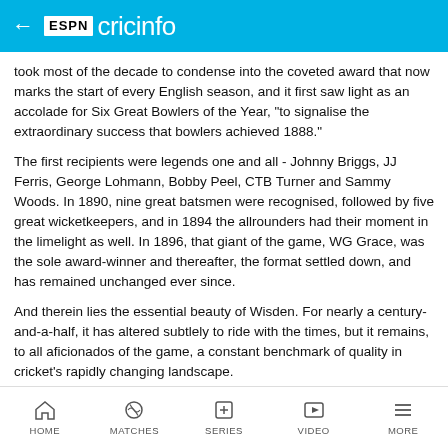ESPN cricinfo
took most of the decade to condense into the coveted award that now marks the start of every English season, and it first saw light as an accolade for Six Great Bowlers of the Year, "to signalise the extraordinary success that bowlers achieved 1888."
The first recipients were legends one and all - Johnny Briggs, JJ Ferris, George Lohmann, Bobby Peel, CTB Turner and Sammy Woods. In 1890, nine great batsmen were recognised, followed by five great wicketkeepers, and in 1894 the allrounders had their moment in the limelight as well. In 1896, that giant of the game, WG Grace, was the sole award-winner and thereafter, the format settled down, and has remained unchanged ever since.
And therein lies the essential beauty of Wisden. For nearly a century-and-a-half, it has altered subtlely to ride with the times, but it remains, to all aficionados of the game, a constant benchmark of quality in cricket's rapidly changing landscape.
Editor George H. West
Pages 268
Price 1/-
Series included
HOME  MATCHES  SERIES  VIDEO  MORE